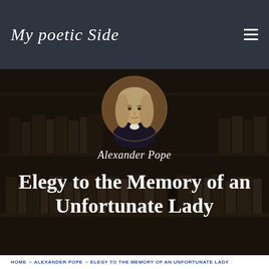My poetic Side
[Figure (illustration): Dark bookshelf background with a circular portrait of Alexander Pope centered at top, painted oil-portrait style showing a man with long curled hair and dark clothing]
Alexander Pope
Elegy to the Memory of an Unfortunate Lady
HOME > ALEXANDER POPE > ELEGY TO THE MEMORY OF AN UNFORTUNATE LADY